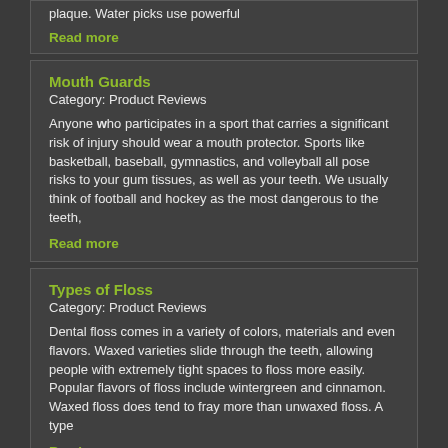plaque. Water picks use powerful
Read more
Mouth Guards
Category: Product Reviews
Anyone who participates in a sport that carries a significant risk of injury should wear a mouth protector. Sports like basketball, baseball, gymnastics, and volleyball all pose risks to your gum tissues, as well as your teeth. We usually think of football and hockey as the most dangerous to the teeth,
Read more
Types of Floss
Category: Product Reviews
Dental floss comes in a variety of colors, materials and even flavors. Waxed varieties slide through the teeth, allowing people with extremely tight spaces to floss more easily. Popular flavors of floss include wintergreen and cinnamon. Waxed floss does tend to fray more than unwaxed floss. A type
Read more